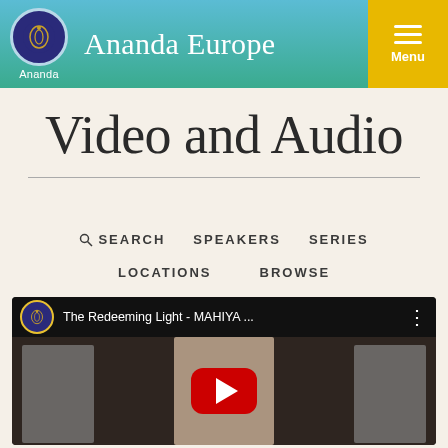Ananda Europe — Menu
Video and Audio
SEARCH
SPEAKERS
SERIES
LOCATIONS
BROWSE
[Figure (screenshot): YouTube video thumbnail showing 'The Redeeming Light - MAHIYA ...' with a presenter standing between two portrait paintings, with a red YouTube play button overlay.]